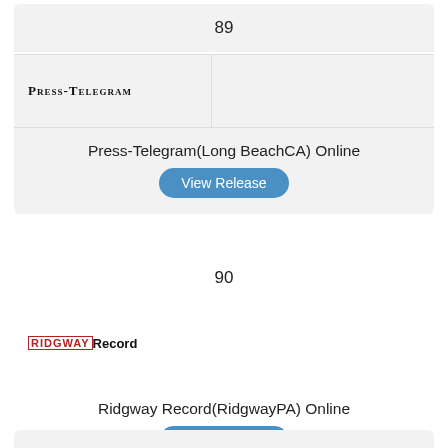89
[Figure (logo): Press-Telegram newspaper logo in small-caps serif font]
Press-Telegram(Long BeachCA) Online
View Release
90
[Figure (logo): Ridgway Record newspaper logo with red bordered RIDGWAY text and bold Record]
Ridgway Record(RidgwayPA) Online
View Release